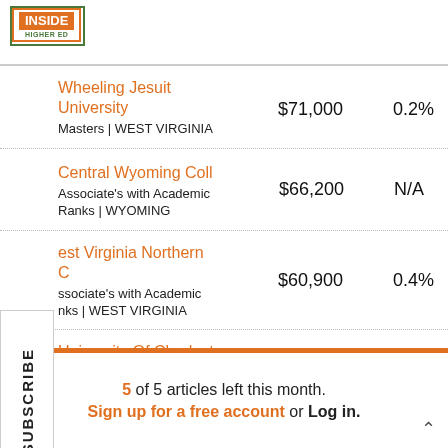[Figure (logo): Inside Higher Ed logo with orange and green border]
| Institution | Salary | Change |
| --- | --- | --- |
| Wheeling Jesuit University
Masters | WEST VIRGINIA | $71,000 | 0.2% |
| Central Wyoming Coll
Associate's with Academic Ranks | WYOMING | $66,200 | N/A |
| West Virginia Northern CC
Associate's with Academic Ranks | WEST VIRGINIA | $60,900 | 0.4% |
| University Of Charleston | $70,200 | N/A |
5 of 5 articles left this month. Sign up for a free account or Log in.